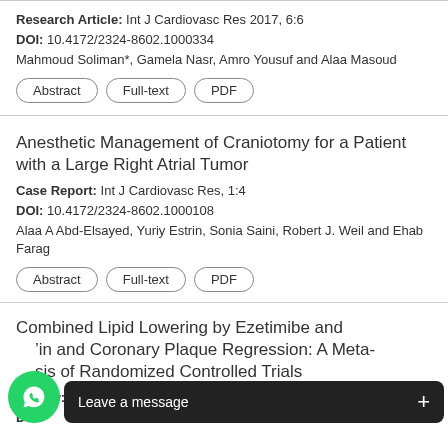Research Article: Int J Cardiovasc Res 2017, 6:6
DOI: 10.4172/2324-8602.1000334
Mahmoud Soliman*, Gamela Nasr, Amro Yousuf and Alaa Masoud
Abstract | Full-text | PDF
Anesthetic Management of Craniotomy for a Patient with a Large Right Atrial Tumor
Case Report: Int J Cardiovasc Res, 1:4
DOI: 10.4172/2324-8602.1000108
Alaa A Abd-Elsayed, Yuriy Estrin, Sonia Saini, Robert J. Weil and Ehab Farag
Abstract | Full-text | PDF
Combined Lipid Lowering by Ezetimibe and ...in and Coronary Plaque Regression: A Meta-...sis of Randomized Controlled Trials
Review: ...2016,5:5
DOI: